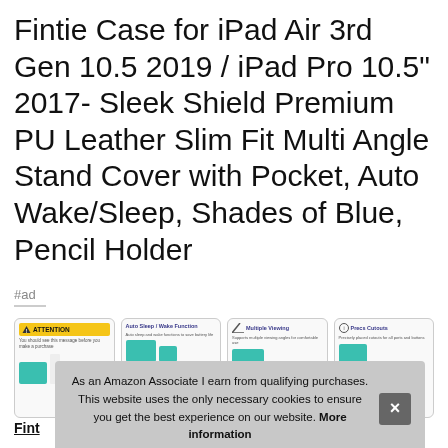Fintie Case for iPad Air 3rd Gen 10.5 2019 / iPad Pro 10.5" 2017- Sleek Shield Premium PU Leather Slim Fit Multi Angle Stand Cover with Pocket, Auto Wake/Sleep, Shades of Blue, Pencil Holder
#ad
[Figure (screenshot): Four product thumbnail images showing iPad case features: Attention warning label, Auto Sleep/Wake function, Multiple Viewing angles, and Precise Cutouts]
As an Amazon Associate I earn from qualifying purchases. This website uses the only necessary cookies to ensure you get the best experience on our website. More information
Fint